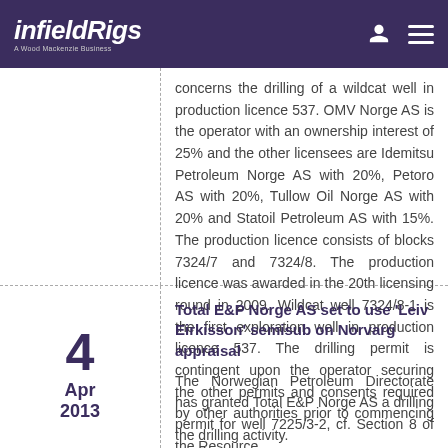infieldRigs — A Wood Mackenzie Business
concerns the drilling of a wildcat well in production licence 537. OMV Norge AS is the operator with an ownership interest of 25% and the other licensees are Idemitsu Petroleum Norge AS with 20%, Petoro AS with 20%, Tullow Oil Norge AS with 20% and Statoil Petroleum AS with 15%. The production licence consists of blocks 7324/7 and 7324/8. The production licence was awarded in the 20th licensing round in 2009. Wildcat well 7324/8-1 is the first exploration well in production licence 537. The drilling permit is contingent upon the operator securing the other permits and consents required by other authorities prior to commencing the drilling activity.
Total E&P Norge AS set to use 'Leiv Eirkisson' semisub on Norvarg appraisal
The Norwegian Petroleum Directorate has granted Total E&P Norge AS a drilling permit for well 7225/3-2, cf. Section 8 of the Resource